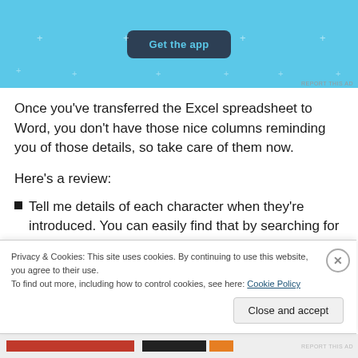[Figure (screenshot): App advertisement banner with light blue background and a dark blue 'Get the app' button, with decorative plus signs scattered around]
Once you’ve transferred the Excel spreadsheet to Word, you don’t have those nice columns reminding you of those details, so take care of them now.
Here’s a review:
Tell me details of each character when they’re introduced. You can easily find that by searching for the first time each person appears. Tell me...
Privacy & Cookies: This site uses cookies. By continuing to use this website, you agree to their use.
To find out more, including how to control cookies, see here: Cookie Policy
Close and accept